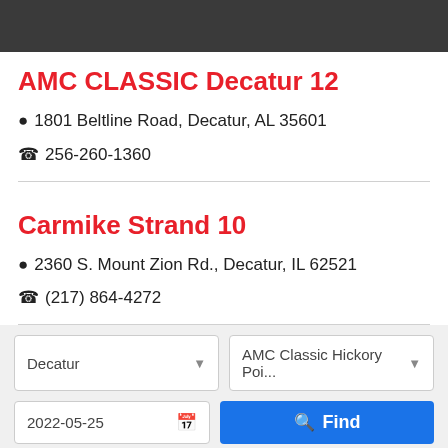[Figure (screenshot): Dark header bar at the top of a mobile app screen]
AMC CLASSIC Decatur 12
📍 1801 Beltline Road, Decatur, AL 35601
📞 256-260-1360
Carmike Strand 10
📍 2360 S. Mount Zion Rd., Decatur, IL 62521
📞 (217) 864-4272
Decatur [dropdown]
AMC Classic Hickory Poi... [dropdown]
2022-05-25 [date input]
🔍 Find